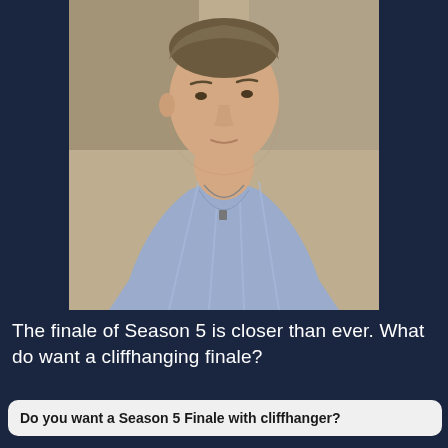[Figure (photo): A man in a light blue striped button-up shirt, looking downward with a serious expression. The photo is cropped to show his head and upper chest. The background is slightly blurred indoor setting.]
The finale of Season 5 is closer than ever. What do want a cliffhanging finale?
Do you want a Season 5 Finale with cliffhanger?